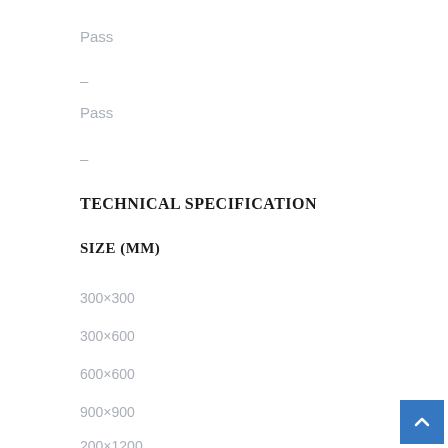Pass
–
Pass
–
TECHNICAL SPECIFICATION
SIZE (MM)
300×300
300×600
600×600
900×900
200×1200